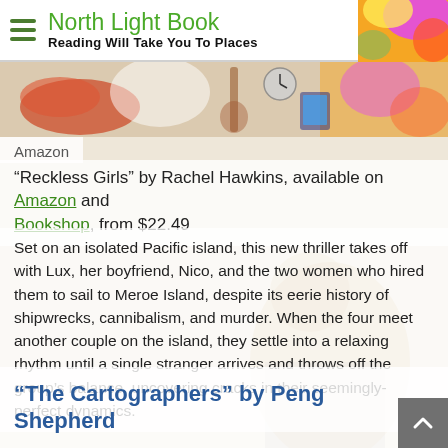North Light Book — Reading Will Take You To Places
[Figure (illustration): Colorful illustrated header image with books, musical instruments, clock, keyboard, tablet on a red and yellow painted background]
Amazon
"Reckless Girls" by Rachel Hawkins, available on Amazon and Bookshop, from $22.49
Set on an isolated Pacific island, this new thriller takes off with Lux, her boyfriend, Nico, and the two women who hired them to sail to Meroe Island, despite its eerie history of shipwrecks, cannibalism, and murder. When the four meet another couple on the island, they settle into a relaxing rhythm until a single stranger arrives and throws off the group's balance, uncovering cracks in their seemingly-perfect dynamics.
“The Cartographers” by Peng Shepherd